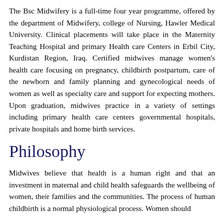The Bsc Midwifery is a full-time four year programme, offered by the department of Midwifery, college of Nursing, Hawler Medical University. Clinical placements will take place in the Maternity Teaching Hospital and primary Health care Centers in Erbil City, Kurdistan Region, Iraq. Certified midwives manage women's health care focusing on pregnancy, childbirth postpartum, care of the newborn and family planning and gynecological needs of women as well as specialty care and support for expecting mothers. Upon graduation, midwives practice in a variety of settings including primary health care centers governmental hospitals, private hospitals and home birth services.
Philosophy
Midwives believe that health is a human right and that an investment in maternal and child health safeguards the wellbeing of women, their families and the communities. The process of human childbirth is a normal physiological process. Women should